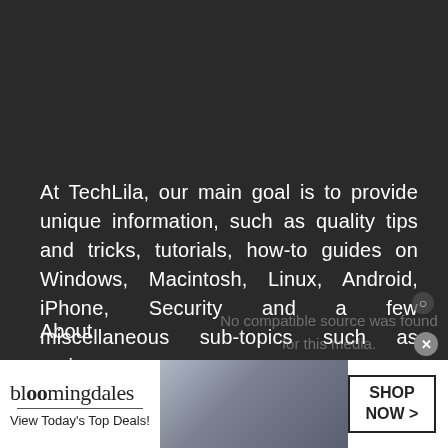At TechLila, our main goal is to provide unique information, such as quality tips and tricks, tutorials, how-to guides on Windows, Macintosh, Linux, Android, iPhone, Security and a few miscellaneous sub-topics such as reviews.
LINKS
About
No compatible source was found for this media.
Contact Us
[Figure (infographic): Bloomingdale's advertisement banner: 'View Today's Top Deals!' with SHOP NOW > button and woman in hat photo]